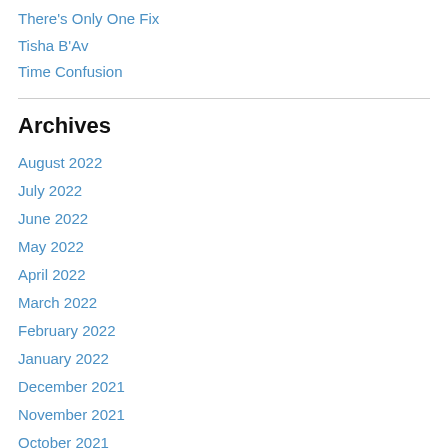There's Only One Fix
Tisha B'Av
Time Confusion
Archives
August 2022
July 2022
June 2022
May 2022
April 2022
March 2022
February 2022
January 2022
December 2021
November 2021
October 2021
September 2021
August 2021